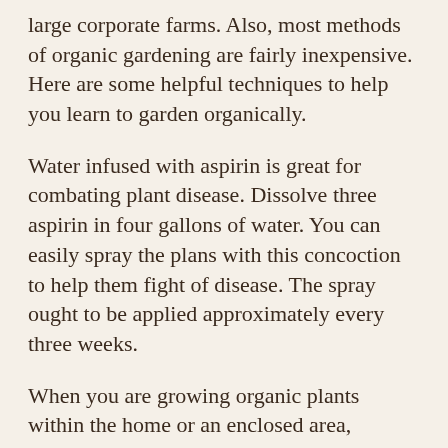large corporate farms. Also, most methods of organic gardening are fairly inexpensive. Here are some helpful techniques to help you learn to garden organically.
Water infused with aspirin is great for combating plant disease. Dissolve three aspirin in four gallons of water. You can easily spray the plans with this concoction to help them fight of disease. The spray ought to be applied approximately every three weeks.
When you are growing organic plants within the home or an enclosed area, considering how much light the plants will receive must be emphasized. If you live somewhere without strong natural sunlight, you might want to look into growing plants that thrive in lower-light environments. Using UV lamps is a great way to grow an organic